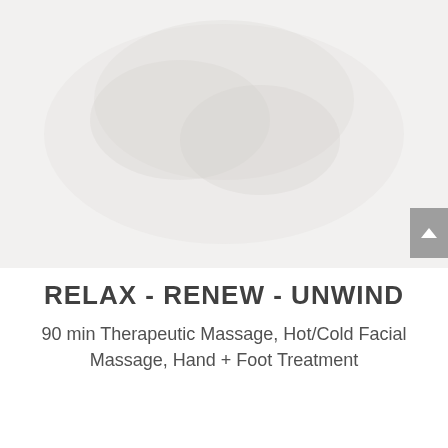[Figure (photo): Faded/washed out background image of a massage or spa treatment scene, very light and nearly white]
RELAX - RENEW - UNWIND
90 min Therapeutic Massage, Hot/Cold Facial Massage, Hand + Foot Treatment